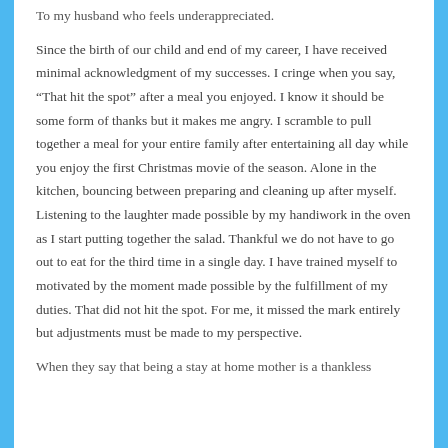To my husband who feels underappreciated.
Since the birth of our child and end of my career, I have received minimal acknowledgment of my successes. I cringe when you say, “That hit the spot” after a meal you enjoyed. I know it should be some form of thanks but it makes me angry. I scramble to pull together a meal for your entire family after entertaining all day while you enjoy the first Christmas movie of the season. Alone in the kitchen, bouncing between preparing and cleaning up after myself. Listening to the laughter made possible by my handiwork in the oven as I start putting together the salad. Thankful we do not have to go out to eat for the third time in a single day. I have trained myself to motivated by the moment made possible by the fulfillment of my duties. That did not hit the spot. For me, it missed the mark entirely but adjustments must be made to my perspective.
When they say that being a stay at home mother is a thankless...